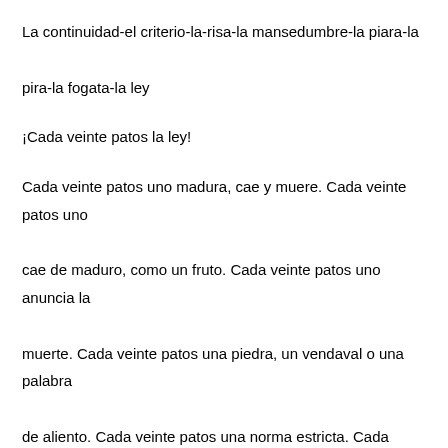La continuidad-el criterio-la-risa-la mansedumbre-la piara-la pira-la fogata-la ley
¡Cada veinte patos la ley!
Cada veinte patos uno madura, cae y muere. Cada veinte patos uno cae de maduro, como un fruto. Cada veinte patos uno anuncia la muerte. Cada veinte patos una piedra, un vendaval o una palabra de aliento. Cada veinte patos una norma estricta. Cada veinte patos se desata una guerra. Cada veinte patos una parte de la guerra. Cada veinte patos el mundo. Cada veinte patos la luna:
-Dame tu amor y te doy la luna- dijo el primero